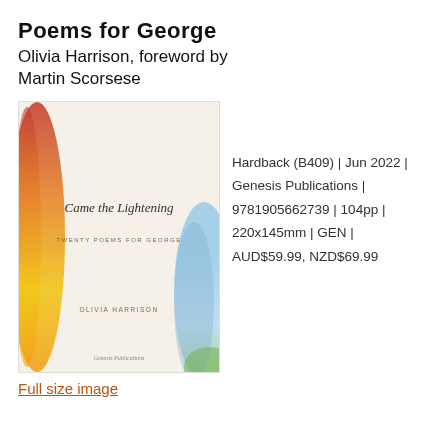Poems for George
Olivia Harrison, foreword by Martin Scorsese
[Figure (photo): Book cover of 'Came the Lightening: Twenty Poems for George' by Olivia Harrison, published by Genesis Publications. The cover features watercolor-style splashes of red, orange, yellow on the left side and blue/green on the right, with a cream/white center. Text reads: 'Came the Lightening', 'TWENTY POEMS FOR GEORGE', 'OLIVIA HARRISON', 'Genesis Publications'.]
Hardback (B409) | Jun 2022 | Genesis Publications | 9781905662739 | 104pp | 220x145mm | GEN | AUD$59.99, NZD$69.99
Full size image